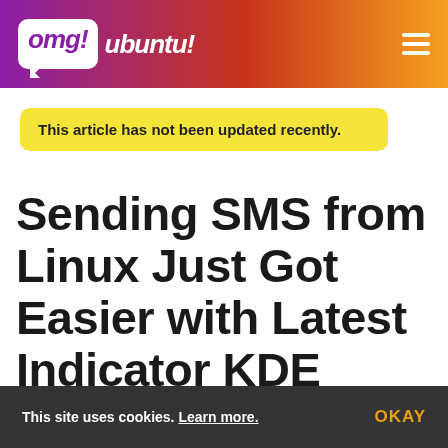omg! ubuntu!
This article has not been updated recently.
Sending SMS from Linux Just Got Easier with Latest Indicator KDE Connect Update
This site uses cookies. Learn more.  OKAY